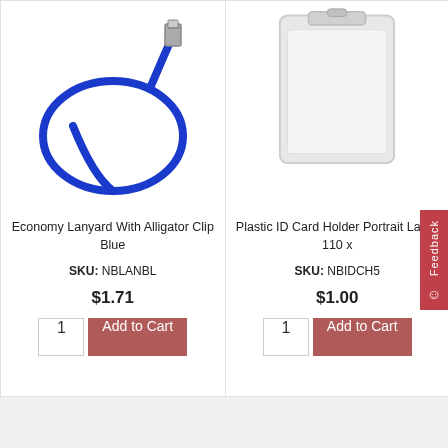[Figure (photo): Blue economy lanyard with alligator clip, coiled rope shape]
Economy Lanyard With Alligator Clip Blue
SKU: NBLANBL
$1.71
[Figure (photo): Clear plastic ID card holder portrait orientation, large size 110 x]
Plastic ID Card Holder Portrait Large 110 x
SKU: NBIDCH5
$1.00